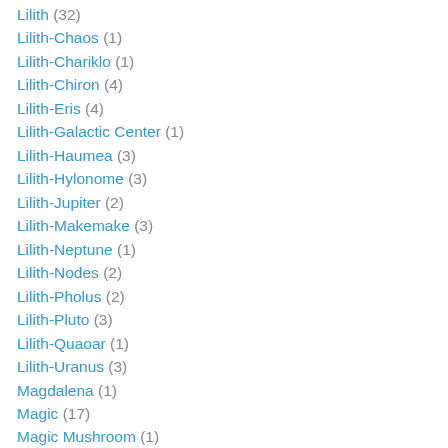Lilith (32)
Lilith-Chaos (1)
Lilith-Chariklo (1)
Lilith-Chiron (4)
Lilith-Eris (4)
Lilith-Galactic Center (1)
Lilith-Haumea (3)
Lilith-Hylonome (3)
Lilith-Jupiter (2)
Lilith-Makemake (3)
Lilith-Neptune (1)
Lilith-Nodes (2)
Lilith-Pholus (2)
Lilith-Pluto (3)
Lilith-Quaoar (1)
Lilith-Uranus (3)
Magdalena (1)
Magic (17)
Magic Mushroom (1)
Magnetic Energy (3)